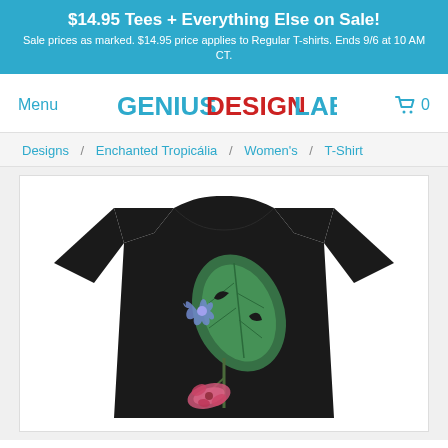$14.95 Tees + Everything Else on Sale! Sale prices as marked. $14.95 price applies to Regular T-shirts. Ends 9/6 at 10 AM CT.
Menu
[Figure (logo): GENIUSDESIGNLAB. logo in blue and red text]
0 (cart icon)
Designs / Enchanted Tropicália / Women's / T-Shirt
[Figure (photo): Black women's t-shirt with tropical botanical illustration featuring large green monstera leaf, blue flower, and pink/red flower element on a white background]